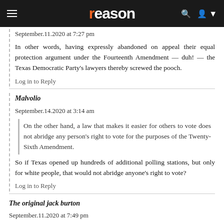reason
September.11.2020 at 7:27 pm
In other words, having expressly abandoned on appeal their equal protection argument under the Fourteenth Amendment — duh! — the Texas Democratic Party's lawyers thereby screwed the pooch.
Log in to Reply
Malvolio
September.14.2020 at 3:14 am
On the other hand, a law that makes it easier for others to vote does not abridge any person's right to vote for the purposes of the Twenty-Sixth Amendment.
So if Texas opened up hundreds of additional polling stations, but only for white people, that would not abridge anyone's right to vote?
Log in to Reply
The original jack burton
September.11.2020 at 7:49 pm
"While on a cross-country motorcycle trip, man's bike breaks down in an isolated town in Garfield County, Utah. Yikes! He's arrested on suspicion of stealing $20 from a local convenience store"